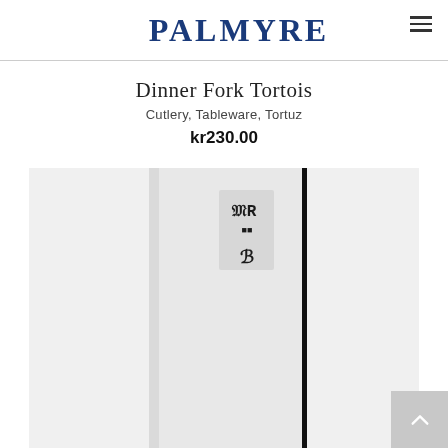PALMYRE
Dinner Fork Tortois
Cutlery, Tableware, Tortuz
kr230.00
[Figure (photo): Close-up photo of a dinner fork handle with maker's mark/hallmarks visible on the silver handle against a light background]